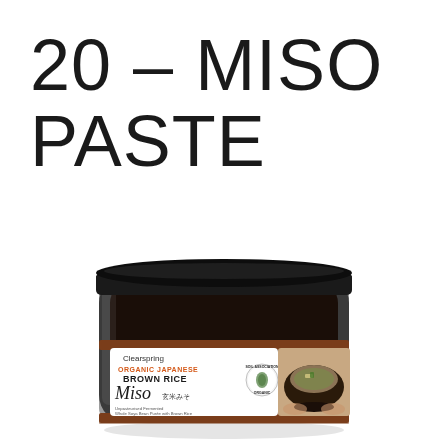20 – MISO PASTE
[Figure (photo): A glass jar of Clearspring Organic Japanese Brown Rice Miso paste with a black lid, showing the label with 'Clearspring ORGANIC JAPANESE BROWN RICE Miso' text, a Soil Association Organic logo, and a small image of a bowl of miso soup on the right side of the label. The jar contains dark brown miso paste visible through the glass.]